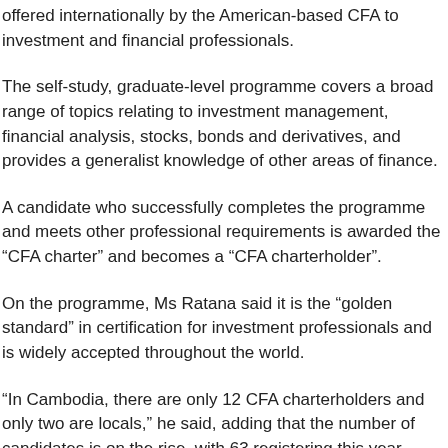offered internationally by the American-based CFA to investment and financial professionals.
The self-study, graduate-level programme covers a broad range of topics relating to investment management, financial analysis, stocks, bonds and derivatives, and provides a generalist knowledge of other areas of finance.
A candidate who successfully completes the programme and meets other professional requirements is awarded the “CFA charter” and becomes a “CFA charterholder”.
On the programme, Ms Ratana said it is the “golden standard” in certification for investment professionals and is widely accepted throughout the world.
“In Cambodia, there are only 12 CFA charterholders and only two are locals,” he said, adding that the number of candidates is on the rise, with 63 registering this year alone.